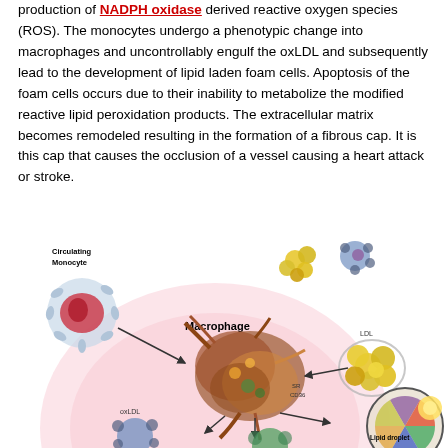production of NADPH oxidase derived reactive oxygen species (ROS). The monocytes undergo a phenotypic change into macrophages and uncontrollably engulf the oxLDL and subsequently lead to the development of lipid laden foam cells. Apoptosis of the foam cells occurs due to their inability to metabolize the modified reactive lipid peroxidation products. The extracellular matrix becomes remodeled resulting in the formation of a fibrous cap. It is this cap that causes the occlusion of a vessel causing a heart attack or stroke.
[Figure (illustration): Biological diagram showing circulating monocyte transforming into macrophage, with LDL particles, oxLDL, SR CD36 receptors, and lipid droplet formation. Labels include: Circulating Monocyte, Macrophage, LDL, oxLDL, SR CD36, Lipid droplet.]